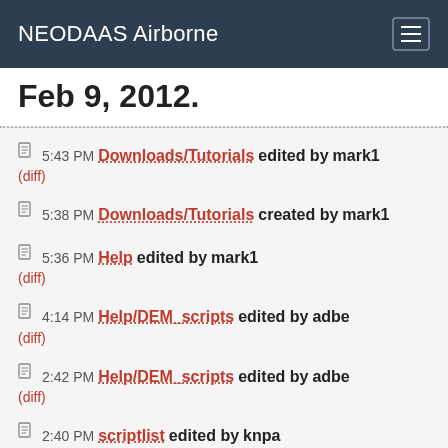NEODAAS Airborne
Feb 9, 2012.
5:43 PM Downloads/Tutorials edited by mark1 (diff)
5:38 PM Downloads/Tutorials created by mark1
5:36 PM Help edited by mark1 (diff)
4:14 PM Help/DEM_scripts edited by adbe (diff)
2:42 PM Help/DEM_scripts edited by adbe (diff)
2:40 PM scriptlist edited by knpa (diff)